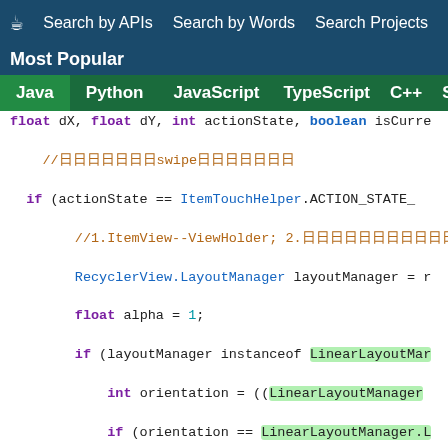☕ Search by APIs  Search by Words  Search Projects
Most Popular
Java  Python  JavaScript  TypeScript  C++  Scala
[Figure (screenshot): Java code snippet showing onChildDraw method with RecyclerView ItemTouchHelper swipe logic, LinearLayoutManager orientation checks, alpha calculations]
[Figure (photo): Porsche 911 advertisement with text 'The new 911. Ever ahead. LEARN MORE' and Porsche logo]